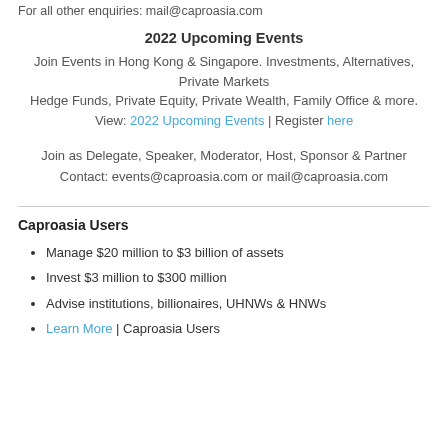For all other enquiries: mail@caproasia.com
2022 Upcoming Events
Join Events in Hong Kong & Singapore. Investments, Alternatives, Private Markets
Hedge Funds, Private Equity, Private Wealth, Family Office & more.
View: 2022 Upcoming Events | Register here
Join as Delegate, Speaker, Moderator, Host, Sponsor & Partner
Contact: events@caproasia.com or mail@caproasia.com
Caproasia Users
Manage $20 million to $3 billion of assets
Invest $3 million to $300 million
Advise institutions, billionaires, UHNWs & HNWs
Learn More | Caproasia Users